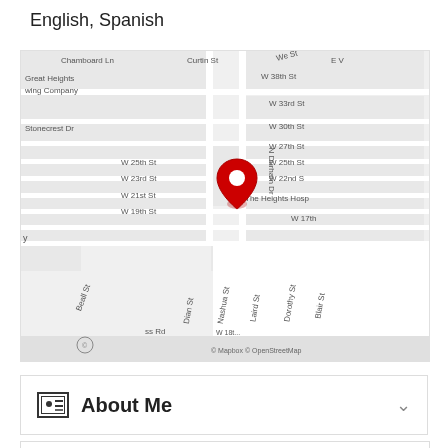English, Spanish
[Figure (map): Street map showing area around N Durham Dr with a red location pin marker. Visible streets include Chamboard Ln, Curtin St, We St, E V, Great Heights Brewing Company, W 38th St, W 33rd St, Stonecrest Dr, W 30th St, W 27th St, W 25th St, W 23rd St, W 25th St, W 22nd S, W 21st St, W 19th St, The Heights Hosp, W 17th, Beall St, Dian St, Nashua St, Laird St, Dorothy St, Blair St. Map credits: © Mapbox © OpenStreetMap]
About Me